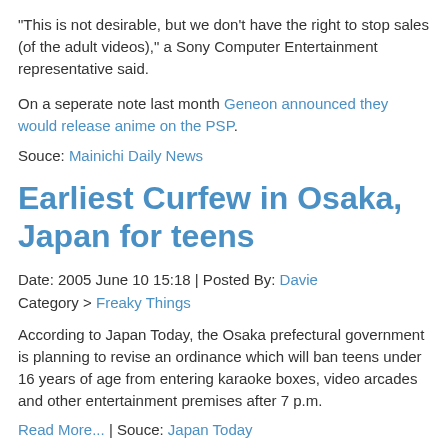"This is not desirable, but we don't have the right to stop sales (of the adult videos)," a Sony Computer Entertainment representative said.
On a seperate note last month Geneon announced they would release anime on the PSP.
Souce: Mainichi Daily News
Earliest Curfew in Osaka, Japan for teens
Date: 2005 June 10 15:18 | Posted By: Davie
Category > Freaky Things
According to Japan Today, the Osaka prefectural government is planning to revise an ordinance which will ban teens under 16 years of age from entering karaoke boxes, video arcades and other entertainment premises after 7 p.m.
Read More... | Souce: Japan Today